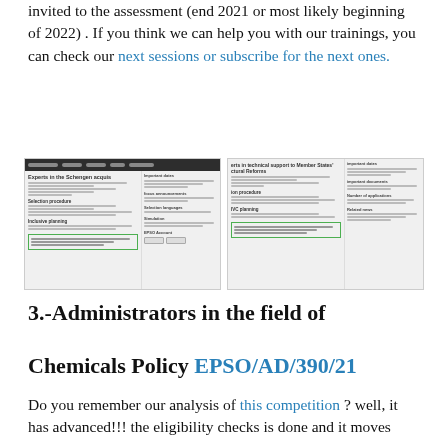invited to the assessment (end 2021 or most likely beginning of 2022) . If you think we can help you with our trainings, you can check our next sessions or subscribe for the next ones.
[Figure (screenshot): Two screenshots of EPSO expert job listing pages, showing forms for Experts in the Schengen acquis and experts in technical support to Member States structural reforms, with green highlighted sections at the bottom.]
3.-Administrators in the field of Chemicals Policy EPSO/AD/390/21
Do you remember our analysis of this competition ? well, it has advanced!!! the eligibility checks is done and it moves